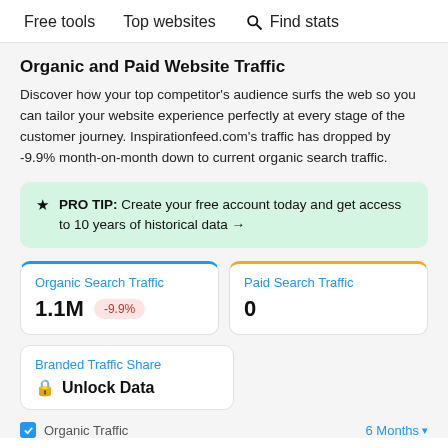Free tools   Top websites   Find stats
Organic and Paid Website Traffic
Discover how your top competitor's audience surfs the web so you can tailor your website experience perfectly at every stage of the customer journey. Inspirationfeed.com's traffic has dropped by -9.9% month-on-month down to current organic search traffic.
PRO TIP: Create your free account today and get access to 10 years of historical data →
| Organic Search Traffic | Paid Search Traffic |
| --- | --- |
| 1.1M  -9.9% | 0 |
Branded Traffic Share  🔒 Unlock Data
Organic Traffic   6 Months